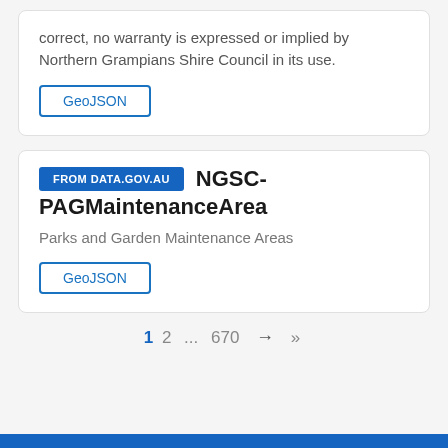correct, no warranty is expressed or implied by Northern Grampians Shire Council in its use.
GeoJSON
FROM DATA.GOV.AU  NGSC-PAGMaintenanceArea
Parks and Garden Maintenance Areas
GeoJSON
1  2  ...  670  →  »